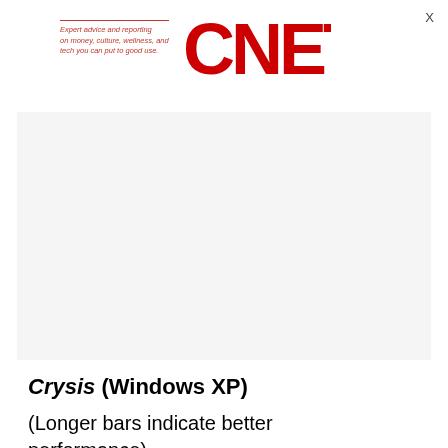Expert advice and reporting on money, culture, wellness, and tech you can put to good use. CNET
[Figure (other): Advertisement placeholder — light grey rectangle]
Crysis (Windows XP)
(Longer bars indicate better performance)